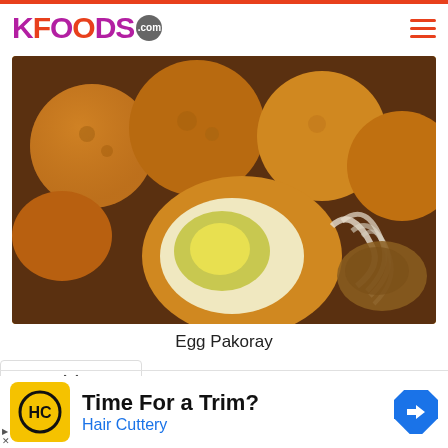KFOODS.com
[Figure (photo): Close-up photo of Egg Pakoray — golden-brown deep-fried pakoras/fritters, one split open revealing a boiled egg inside with green-yellow yolk, surrounded by sliced onions and brown sauce/chutney on a plate.]
Egg Pakoray
[Figure (other): Dropdown/chevron UI element in a white rounded box]
[Figure (infographic): Advertisement: Hair Cuttery — 'Time For a Trim?' with HC logo on yellow background and a navigation/turn right arrow icon]
Time For a Trim?
Hair Cuttery